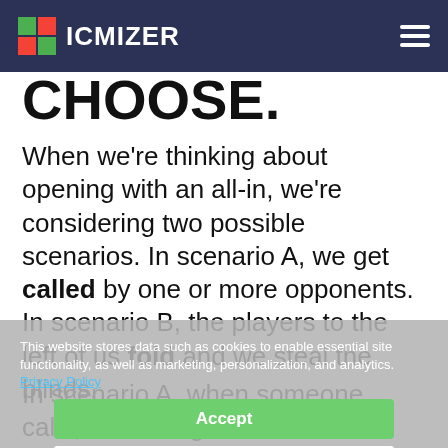ICMIZER
CHOOSE.
When we're thinking about opening with an all-in, we're considering two possible scenarios. In scenario A, we get called by one or more opponents. In scenario B, the players to the left of us fold and we steal the blinds.
In scenario A, when someone calls, the strength of our hand begins to matter. Having the stronger hand always helps. However, calls are often made with a narrower range than pushes, so it's likely that the caller has a stronger
This website stores data such as cookies to enable essential site functionality, as well as marketing, personalization, and analytics. Privacy Policy
Accept
Deny